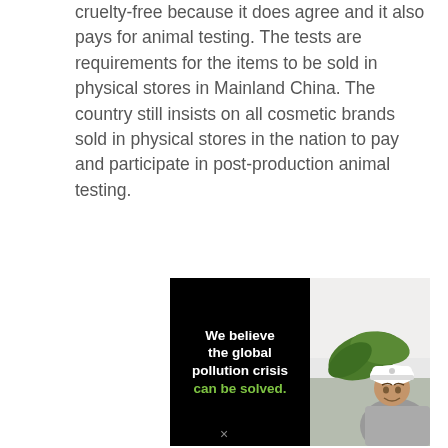cruelty-free because it does agree and it also pays for animal testing. The tests are requirements for the items to be sold in physical stores in Mainland China. The country still insists on all cosmetic brands sold in physical stores in the nation to pay and participate in post-production animal testing.
[Figure (infographic): Advertisement banner with black left panel containing bold white and green text reading 'We believe the global pollution crisis can be solved.' and right panel showing a man in a white hard hat examining a green plant.]
×